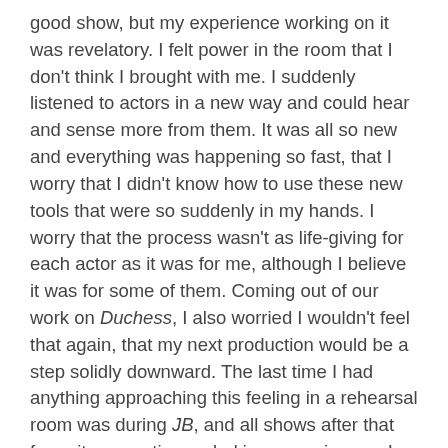good show, but my experience working on it was revelatory. I felt power in the room that I don't think I brought with me. I suddenly listened to actors in a new way and could hear and sense more from them. It was all so new and everything was happening so fast, that I worry that I didn't know how to use these new tools that were so suddenly in my hands. I worry that the process wasn't as life-giving for each actor as it was for me, although I believe it was for some of them. Coming out of our work on Duchess, I also worried I wouldn't feel that again, that my next production would be a step solidly downward. The last time I had anything approaching this feeling in a rehearsal room was during JB, and all shows after that for quite some time paled in comparison as I struggled to find whatever magic accompanied me into those rehearsals.
Here's the thing that is extraordinary and surprising: